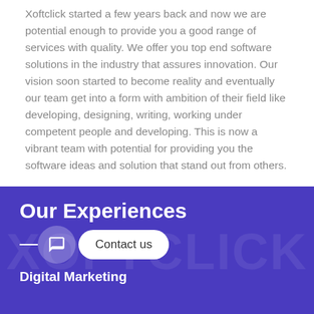Xoftclick started a few years back and now we are potential enough to provide you a good range of services with quality. We offer you top end software solutions in the industry that assures innovation. Our vision soon started to become reality and eventually our team get into a form with ambition of their field like developing, designing, writing, working under competent people and developing. This is now a vibrant team with potential for providing you the software ideas and solution that stand out from others.
Our Experiences
[Figure (infographic): Contact us chat widget with a circular chat icon button and a pill-shaped 'Contact us' button on a purple background]
Digital Marketing